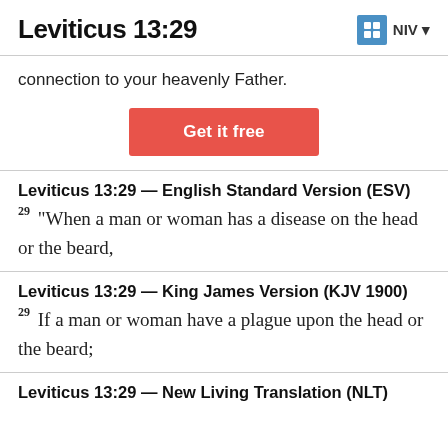Leviticus 13:29
connection to your heavenly Father.
[Figure (other): Get it free button (red/coral colored call-to-action button)]
Leviticus 13:29 — English Standard Version (ESV)
29 “When a man or woman has a disease on the head or the beard,
Leviticus 13:29 — King James Version (KJV 1900)
29 If a man or woman have a plague upon the head or the beard;
Leviticus 13:29 — New Living Translation (NLT)